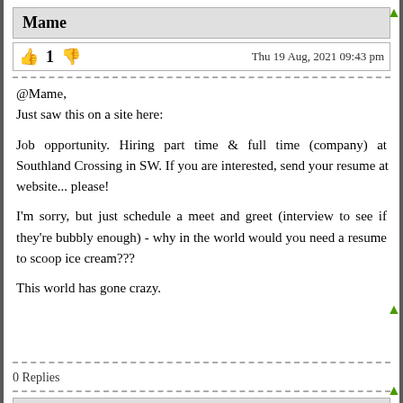Mame
👍 1 👎   Thu 19 Aug, 2021 09:43 pm
@Mame,
Just saw this on a site here:

Job opportunity. Hiring part time & full time (company) at Southland Crossing in SW. If you are interested, send your resume at website... please!

I'm sorry, but just schedule a meet and greet (interview to see if they're bubbly enough) - why in the world would you need a resume to scoop ice cream???

This world has gone crazy.
0 Replies
Mame